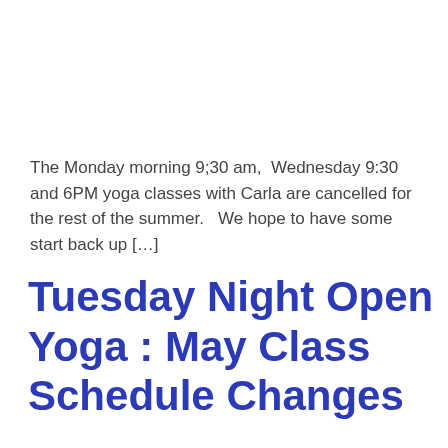The Monday morning 9;30 am,  Wednesday 9:30 and 6PM yoga classes with Carla are cancelled for the rest of the summer.   We hope to have some start back up […]
Tuesday Night Open Yoga : May Class Schedule Changes